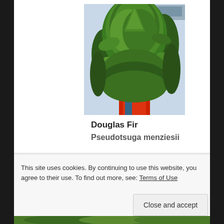[Figure (photo): Photograph of a Douglas Fir tree with dense green foliage, displayed at what appears to be a tree lot with red wrapping at the base and other trees visible in the background.]
Douglas Fir
Pseudotsuga menziesii
This site uses cookies. By continuing to use this website, you agree to their use. To find out more, see: Terms of Use
Close and accept